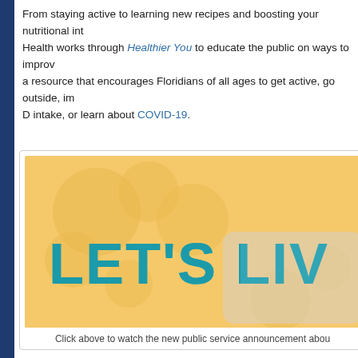From staying active to learning new recipes and boosting your nutritional int... Health works through Healthier You to educate the public on ways to improv... a resource that encourages Floridians of all ages to get active, go outside, im... D intake, or learn about COVID-19.
[Figure (illustration): Golden/yellow background with puzzle piece shapes and large teal bold text reading 'LET'S LIV' (partially cropped), part of a public service announcement graphic]
Click above to watch the new public service announcement abou...